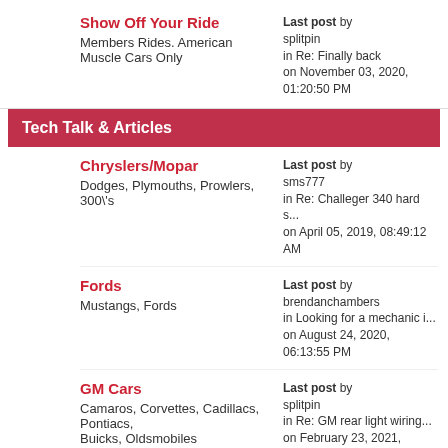Show Off Your Ride
Members Rides. American Muscle Cars Only
Last post by splitpin in Re: Finally back on November 03, 2020, 01:20:50 PM
Tech Talk & Articles
Chryslers/Mopar
Dodges, Plymouths, Prowlers, 300\'s
Last post by sms777 in Re: Challeger 340 hard s... on April 05, 2019, 08:49:12 AM
Fords
Mustangs, Fords
Last post by brendanchambers in Looking for a mechanic i... on August 24, 2020, 06:13:55 PM
GM Cars
Camaros, Corvettes, Cadillacs, Pontiacs, Buicks, Oldsmobiles
Last post by splitpin in Re: GM rear light wiring... on February 23, 2021, 10:15:06